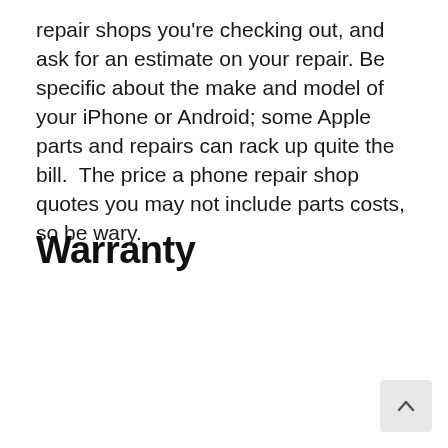repair shops you're checking out, and ask for an estimate on your repair. Be specific about the make and model of your iPhone or Android; some Apple parts and repairs can rack up quite the bill.  The price a phone repair shop quotes you may not include parts costs, so be wary.
Warranty